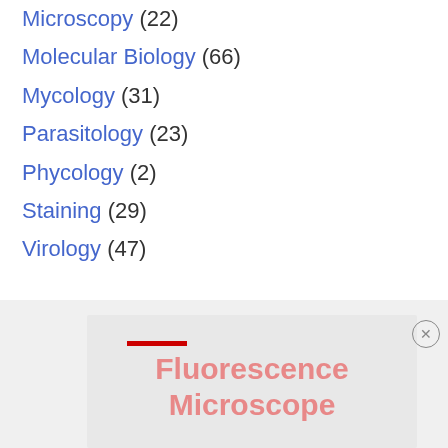Microscopy (22)
Molecular Biology (66)
Mycology (31)
Parasitology (23)
Phycology (2)
Staining (29)
Virology (47)
[Figure (other): Advertisement banner showing 'Fluorescence Microscope' text with a close button (X) in the bottom portion of the page]